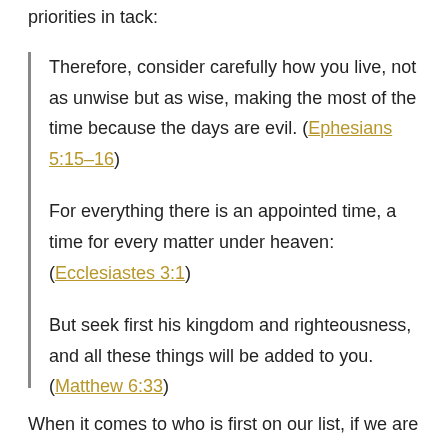priorities in tack:
Therefore, consider carefully how you live, not as unwise but as wise, making the most of the time because the days are evil. (Ephesians 5:15–16)
For everything there is an appointed time, a time for every matter under heaven: (Ecclesiastes 3:1)
But seek first his kingdom and righteousness, and all these things will be added to you. (Matthew 6:33)
When it comes to who is first on our list, if we are